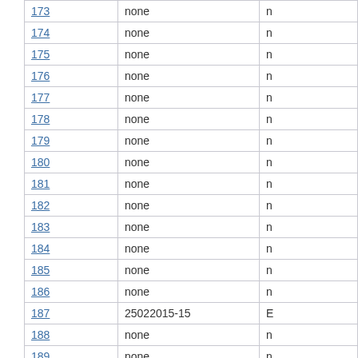|  |  |  |
| --- | --- | --- |
| 173 | none | n |
| 174 | none | n |
| 175 | none | n |
| 176 | none | n |
| 177 | none | n |
| 178 | none | n |
| 179 | none | n |
| 180 | none | n |
| 181 | none | n |
| 182 | none | n |
| 183 | none | n |
| 184 | none | n |
| 185 | none | n |
| 186 | none | n |
| 187 | 25022015-15 | E |
| 188 | none | n |
| 189 | none | n |
| 190 | none | n |
| 191 | none | n |
| 192 | none | n |
| 193 | none | n |
| 194 | none | n |